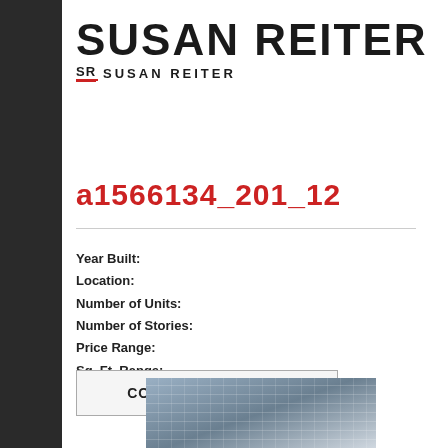[Figure (logo): Susan Reiter real estate brand logo with large bold name and SR monogram]
a1566134_201_12
Year Built:
Location:
Number of Units:
Number of Stories:
Price Range:
Sq. Ft. Range:
CONTACT ME TODAY
[Figure (photo): Exterior photo of a modern glass and concrete high-rise building against blue sky]